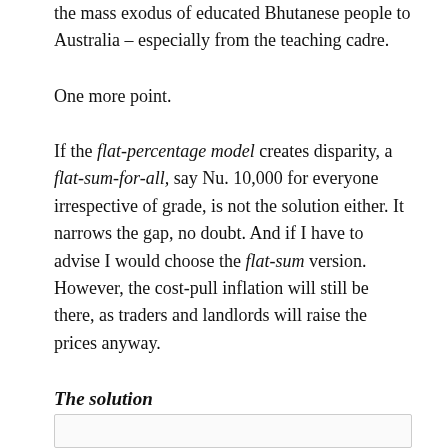the mass exodus of educated Bhutanese people to Australia – especially from the teaching cadre.
One more point.
If the flat-percentage model creates disparity, a flat-sum-for-all, say Nu. 10,000 for everyone irrespective of grade, is not the solution either. It narrows the gap, no doubt. And if I have to advise I would choose the flat-sum version. However, the cost-pull inflation will still be there, as traders and landlords will raise the prices anyway.
The solution